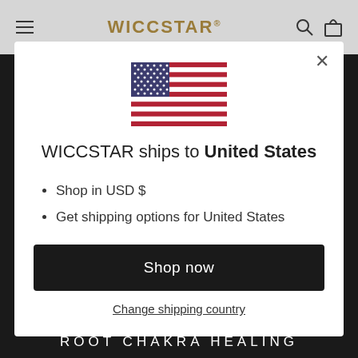WICCSTAR
[Figure (illustration): US flag SVG illustration centered in modal]
WICCSTAR ships to United States
Shop in USD $
Get shipping options for United States
Shop now
Change shipping country
ROOT CHAKRA HEALING